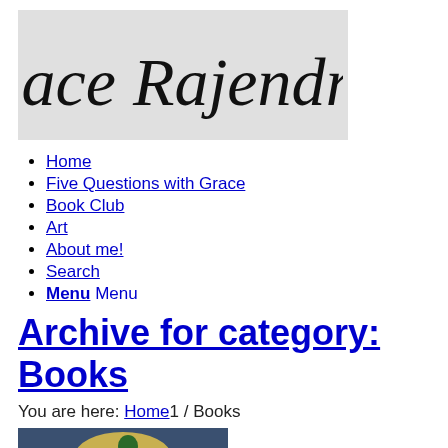[Figure (logo): Grace Rajendran handwritten signature logo on light grey background]
Home
Five Questions with Grace
Book Club
Art
About me!
Search
Menu Menu
Archive for category: Books
You are here: Home1 / Books
[Figure (photo): Photo of a man wearing a yellow/tan baseball cap with a green logo, in front of a blue and golden/orange background]